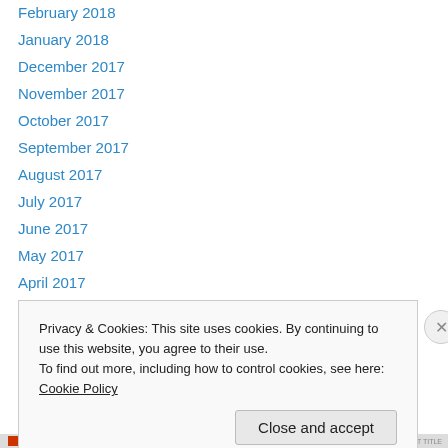February 2018
January 2018
December 2017
November 2017
October 2017
September 2017
August 2017
July 2017
June 2017
May 2017
April 2017
March 2017
February 2017
January 2017
Privacy & Cookies: This site uses cookies. By continuing to use this website, you agree to their use.
To find out more, including how to control cookies, see here: Cookie Policy
Close and accept